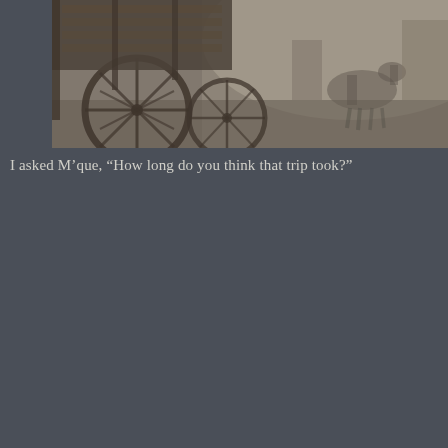[Figure (photo): A sepia/black-and-white historical photograph showing wooden wagon wheels and cart equipment in the foreground, with a horse visible in the misty background. The scene appears to be an old frontier or rural setting.]
I asked M'que, “How long do you think that trip took?”